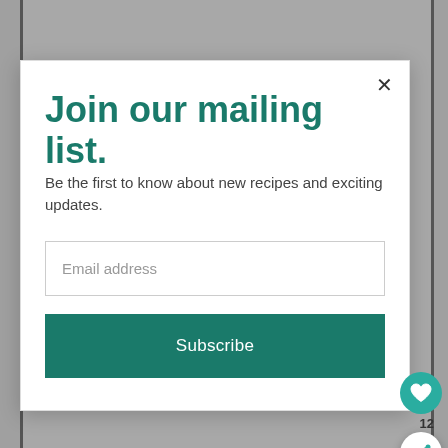Join our mailing list.
Be the first to know about new recipes and exciting updates.
Email address
Subscribe